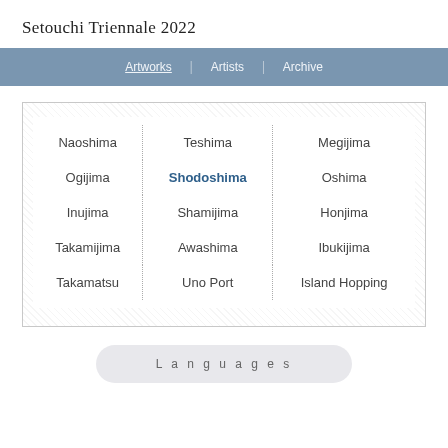Setouchi Triennale 2022
Artworks | Artists | Archive
| Naoshima | Teshima | Megijima |
| Ogijima | Shodoshima | Oshima |
| Inujima | Shamijima | Honjima |
| Takamijima | Awashima | Ibukijima |
| Takamatsu | Uno Port | Island Hopping |
L a n g u a g e s